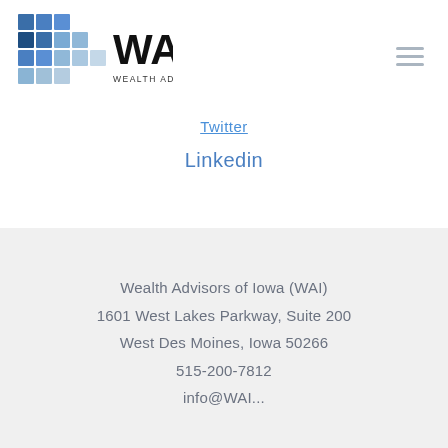[Figure (logo): WAI Wealth Advisors of Iowa logo with blue grid squares and bold WAI text]
Twitter
Linkedin
Wealth Advisors of Iowa (WAI)
1601 West Lakes Parkway, Suite 200
West Des Moines, Iowa 50266
515-200-7812
info@WAI...